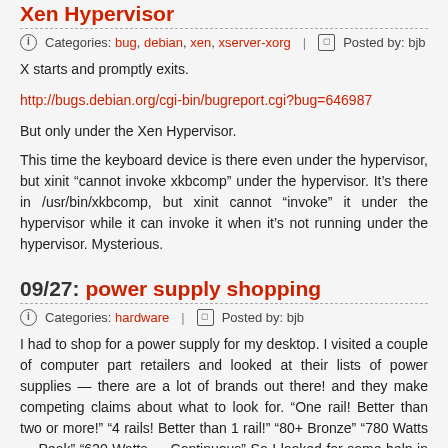09/27: Xen Hypervisor (partial title visible at top)
Categories: bug, debian, xen, xserver-xorg | Posted by: bjb
X starts and promptly exits.
http://bugs.debian.org/cgi-bin/bugreport.cgi?bug=646987
But only under the Xen Hypervisor.
This time the keyboard device is there even under the hypervisor, but xinit “cannot invoke xkbcomp” under the hypervisor. It’s there in /usr/bin/xkbcomp, but xinit cannot “invoke” it under the hypervisor while it can invoke it when it’s not running under the hypervisor. Mysterious.
09/27: power supply shopping
Categories: hardware | Posted by: bjb
I had to shop for a power supply for my desktop. I visited a couple of computer part retailers and looked at their lists of power supplies — there are a lot of brands out there! and they make competing claims about what to look for. “One rail! Better than two or more!” “4 rails! Better than 1 rail!” “80+ Bronze” “780 Watts — Peak” “620 Watts — Continuous” So I looked for some help in interpreting all this.